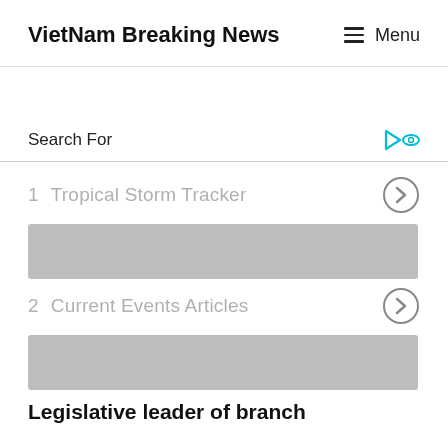VietNam Breaking News   Menu
Search For
1  Tropical Storm Tracker
[Figure (other): Gray placeholder image bar]
2  Current Events Articles
[Figure (other): Gray placeholder image bar]
Legislative leader of branch